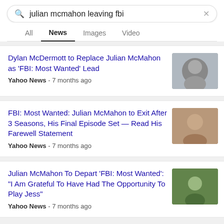julian mcmahon leaving fbi
All
News
Images
Video
Dylan McDermott to Replace Julian McMahon as 'FBI: Most Wanted' Lead
Yahoo News - 7 months ago
FBI: Most Wanted: Julian McMahon to Exit After 3 Seasons, His Final Episode Set — Read His Farewell Statement
Yahoo News - 7 months ago
Julian McMahon To Depart 'FBI: Most Wanted': "I Am Grateful To Have Had The Opportunity To Play Jess"
Yahoo News - 7 months ago